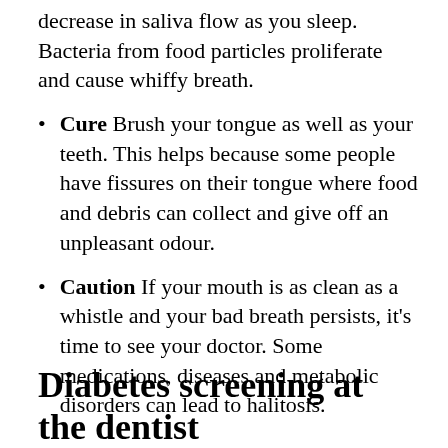decrease in saliva flow as you sleep. Bacteria from food particles proliferate and cause whiffy breath.
Cure Brush your tongue as well as your teeth. This helps because some people have fissures on their tongue where food and debris can collect and give off an unpleasant odour.
Caution If your mouth is as clean as a whistle and your bad breath persists, it’s time to see your doctor. Some medications, diseases and metabolic disorders can lead to halitosis.
Diabetes screening at the dentist